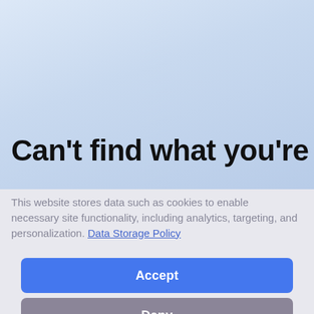[Figure (screenshot): Light blue gradient background filling the top portion of the page]
Can't find what you're
This website stores data such as cookies to enable necessary site functionality, including analytics, targeting, and personalization. Data Storage Policy
Accept
Deny